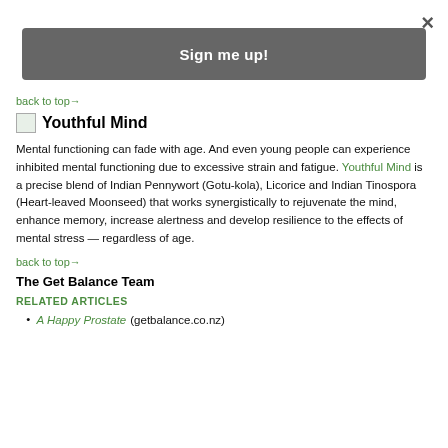[Figure (other): Sign me up! button bar (modal overlay close button and signup CTA)]
back to top→
Youthful Mind
Mental functioning can fade with age. And even young people can experience inhibited mental functioning due to excessive strain and fatigue. Youthful Mind is a precise blend of Indian Pennywort (Gotu-kola), Licorice and Indian Tinospora (Heart-leaved Moonseed) that works synergistically to rejuvenate the mind, enhance memory, increase alertness and develop resilience to the effects of mental stress — regardless of age.
back to top→
The Get Balance Team
RELATED ARTICLES
A Happy Prostate (getbalance.co.nz)